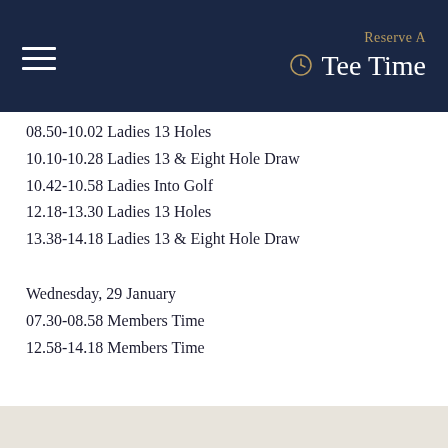Reserve A Tee Time
08.50-10.02 Ladies 13 Holes
10.10-10.28 Ladies 13 & Eight Hole Draw
10.42-10.58 Ladies Into Golf
12.18-13.30 Ladies 13 Holes
13.38-14.18 Ladies 13 & Eight Hole Draw
Wednesday, 29 January
07.30-08.58 Members Time
12.58-14.18 Members Time